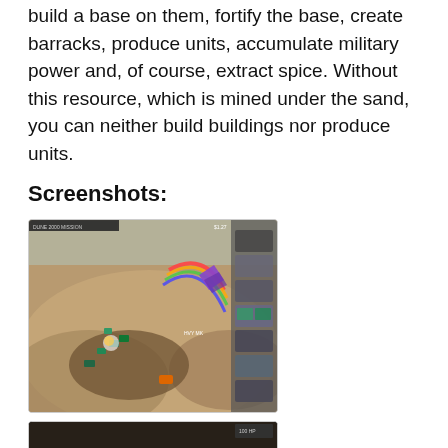build a base on them, fortify the base, create barracks, produce units, accumulate military power and, of course, extract spice. Without this resource, which is mined under the sand, you can neither build buildings nor produce units.
Screenshots:
[Figure (screenshot): In-game screenshot of a real-time strategy game set on a sandy desert landscape with military units, buildings, and colorful UI elements visible.]
[Figure (screenshot): Partial view of a second in-game screenshot, mostly dark, with a small HUD element visible in the upper right.]